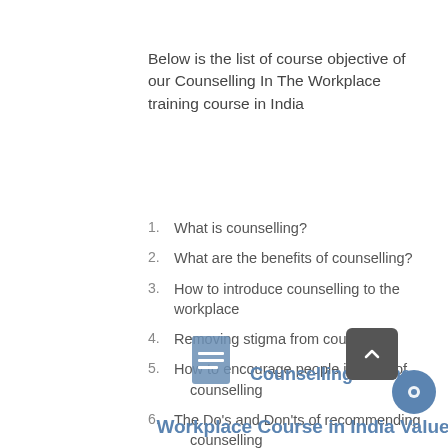Below is the list of course objective of our Counselling In The Workplace training course in India
1. What is counselling?
2. What are the benefits of counselling?
3. How to introduce counselling to the workplace
4. Removing stigma from counselling
5. How to encourage people in need of counselling
6. The Do's and Don'ts of recommending counselling
7. Protocol when attending counselling
Counselling In The Workplace Course in India Value